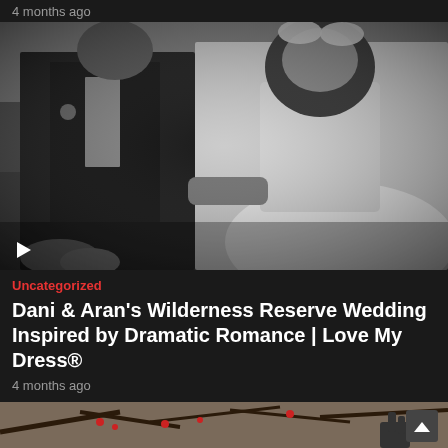4 months ago
[Figure (photo): Black and white wedding photo of bride and groom walking hand in hand in a field. The groom wears a dark suit and the bride wears a strapless ballgown with long curly hair and a bow headpiece. A play button icon is visible in the lower left corner.]
Uncategorized
Dani & Aran's Wilderness Reserve Wedding Inspired by Dramatic Romance | Love My Dress®
4 months ago
[Figure (photo): Partial view of a colorful outdoor photo with trees and branches visible, and a hand reaching up. Bottom portion of next article image.]